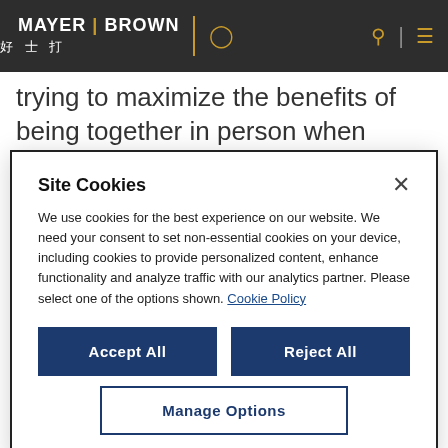MAYER | BROWN 好士打
trying to maximize the benefits of being together in person when people are physically in the office. Little things, such as planning meetings in
Site Cookies
We use cookies for the best experience on our website. We need your consent to set non-essential cookies on your device, including cookies to provide personalized content, enhance functionality and analyze traffic with our analytics partner. Please select one of the options shown. Cookie Policy
Accept All
Reject All
Manage Options
opportunities to tackle difficult problems.